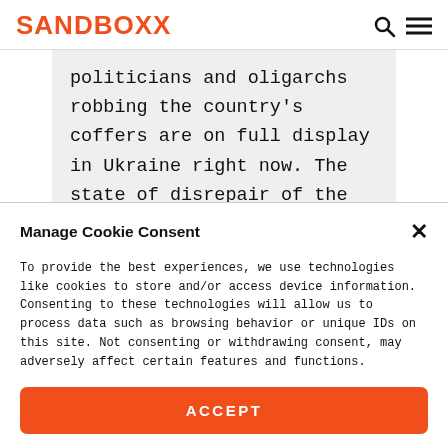SANDBOXX
politicians and oligarchs robbing the country's coffers are on full display in Ukraine right now. The state of disrepair of the
Manage Cookie Consent
To provide the best experiences, we use technologies like cookies to store and/or access device information. Consenting to these technologies will allow us to process data such as browsing behavior or unique IDs on this site. Not consenting or withdrawing consent, may adversely affect certain features and functions.
ACCEPT
Opt-out preferences  Privacy Policy